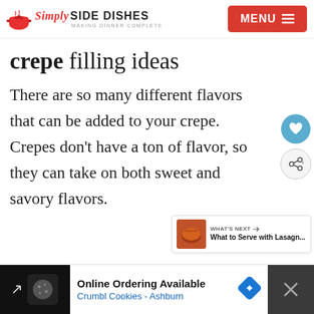Simply SIDE DISHES Making Dinner Complete | MENU
crepe filling ideas
There are so many different flavors that can be added to your crepe. Crepes don't have a ton of flavor, so they can take on both sweet and savory flavors.
[Figure (screenshot): What's Next widget showing 'What to Serve with Lasagn...' with food thumbnail]
[Figure (screenshot): Advertisement banner: Online Ordering Available, Crumbl Cookies - Ashburn]